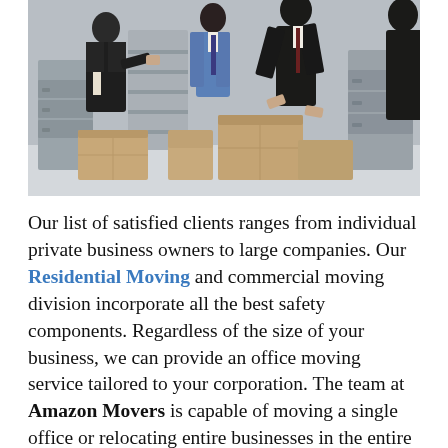[Figure (photo): Office workers in business suits packing and moving boxes and office furniture including filing cabinets in an office setting]
Our list of satisfied clients ranges from individual private business owners to large companies. Our Residential Moving and commercial moving division incorporate all the best safety components. Regardless of the size of your business, we can provide an office moving service tailored to your corporation. The team at Amazon Movers is capable of moving a single office or relocating entire businesses in the entire state of